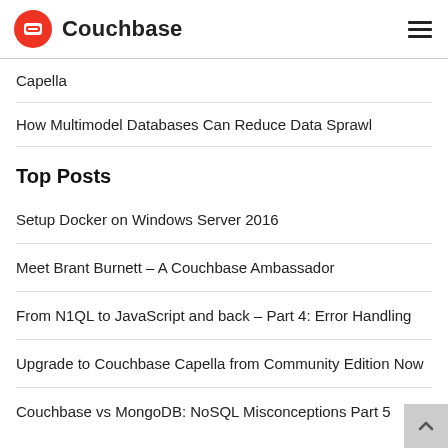Couchbase
Capella
How Multimodel Databases Can Reduce Data Sprawl
Top Posts
Setup Docker on Windows Server 2016
Meet Brant Burnett – A Couchbase Ambassador
From N1QL to JavaScript and back – Part 4: Error Handling
Upgrade to Couchbase Capella from Community Edition Now
Couchbase vs MongoDB: NoSQL Misconceptions Part 5